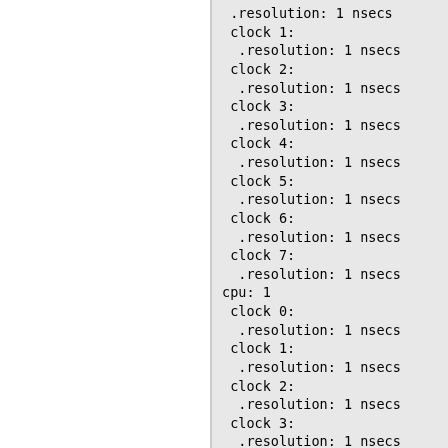.resolution: 1 nsecs
clock 1:
 .resolution: 1 nsecs
clock 2:
 .resolution: 1 nsecs
clock 3:
 .resolution: 1 nsecs
clock 4:
 .resolution: 1 nsecs
clock 5:
 .resolution: 1 nsecs
clock 6:
 .resolution: 1 nsecs
clock 7:
 .resolution: 1 nsecs
cpu: 1
 clock 0:
  .resolution: 1 nsecs
 clock 1:
  .resolution: 1 nsecs
 clock 2:
  .resolution: 1 nsecs
 clock 3:
  .resolution: 1 nsecs
 clock 4:
  .resolution: 1 nsecs
 clock 5:
  .resolution: 1 nsecs
 clock 6:
  .resolution: 1 nsecs
 clock 7:
  .resolution: 1 nsecs